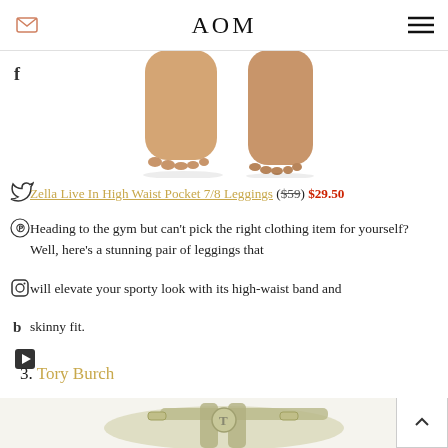AOM
[Figure (photo): Cropped photo showing two bare feet/legs from shins down, standing on white background]
Zella Live In High Waist Pocket 7/8 Leggings ($59) $29.50
Heading to the gym but can't pick the right clothing item for yourself? Well, here's a stunning pair of leggings that will elevate your sporty look with its high-waist band and skinny fit.
3. Tory Burch
[Figure (photo): Partial view of a Tory Burch sandal in pale mint/cream color with T-logo hardware]